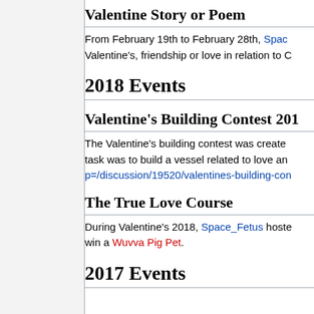Valentine Story or Poem
From February 19th to February 28th, Spac... Valentine's, friendship or love in relation to C...
2018 Events
Valentine's Building Contest 201...
The Valentine's building contest was created... task was to build a vessel related to love an... p=/discussion/19520/valentines-building-con...
The True Love Course
During Valentine's 2018, Space_Fetus hoste... win a Wuvva Pig Pet.
2017 Events